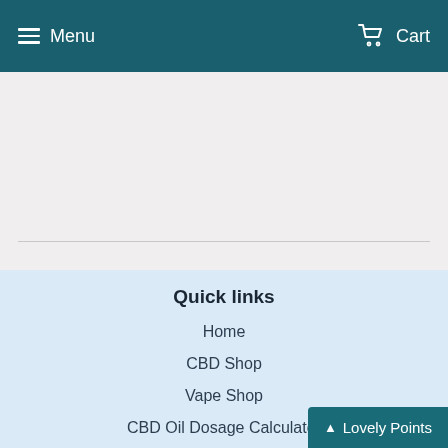Menu   Cart
Quick links
Home
CBD Shop
Vape Shop
CBD Oil Dosage Calculator
Search
All Products
CBD FAQ's